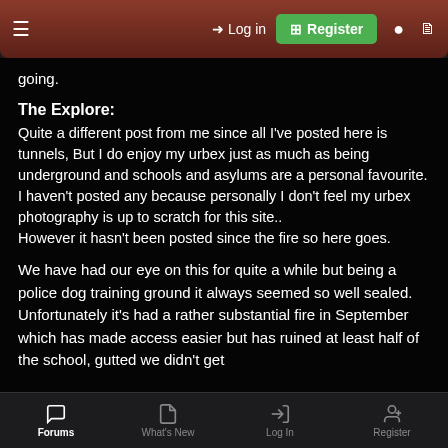≡  → Log in  ⊞ Register  ● 🗋
going.
The Explore:
Quite a different post from me since all I've posted here is tunnels, But I do enjoy my urbex just as much as being underground and schools and asylums are a personal favourite.
I haven't posted any because personally I don't feel my urbex photography is up to scratch for this site..
However it hasn't been posted since the fire so here goes.
We have had our eye on this for quite a while but being a police dog training ground it always seemed so well sealed. Unfortunately it's had a rather substantial fire in September which has made access easier but has ruined at least half of the school, gutted we didn't get
Forums  What's New  Log In  Register